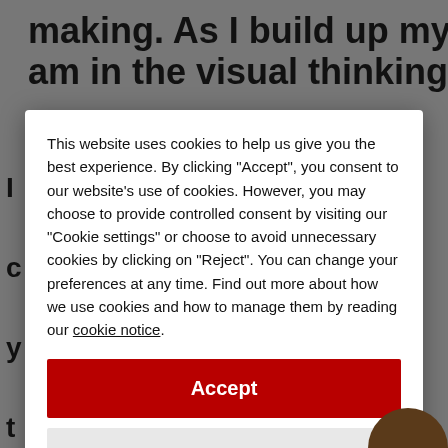making. As I build up my sculpture I feel like I am in the visual thinking process
This website uses cookies to help us give you the best experience. By clicking "Accept", you consent to our website's use of cookies. However, you may choose to provide controlled consent by visiting our "Cookie settings" or choose to avoid unnecessary cookies by clicking on "Reject". You can change your preferences at any time. Find out more about how we use cookies and how to manage them by reading our cookie notice.
Accept
Reject
Cookie settings